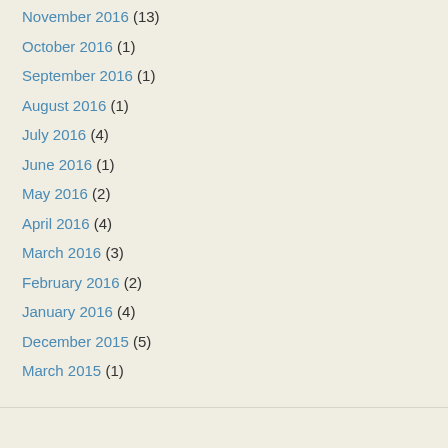November 2016 (13)
October 2016 (1)
September 2016 (1)
August 2016 (1)
July 2016 (4)
June 2016 (1)
May 2016 (2)
April 2016 (4)
March 2016 (3)
February 2016 (2)
January 2016 (4)
December 2015 (5)
March 2015 (1)